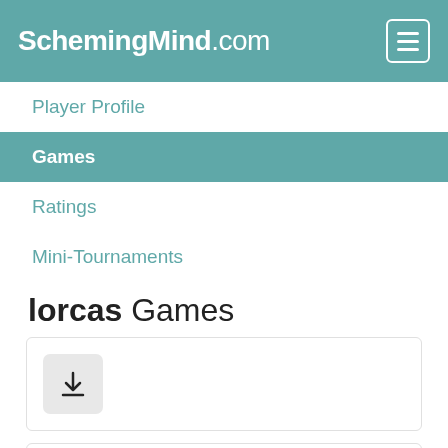SchemingMind.com
Player Profile
Games
Ratings
Mini-Tournaments
lorcas Games
[Figure (screenshot): Download button icon]
Standard Chess League - Season Nine
Standard Chess
lorcas